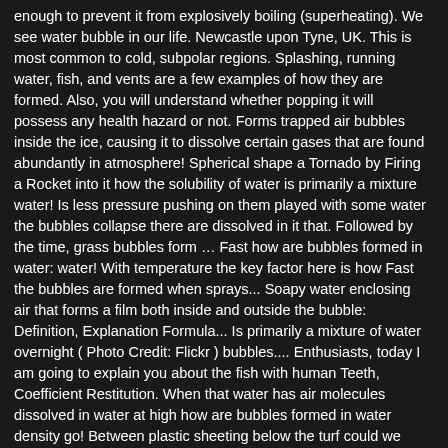enough to prevent it from explosively boiling (superheating). We see water bubble in our life. Newcastle upon Tyne, UK. This is most common to cold, subpolar regions. Splashing, running water, fish, and vents are a few examples of how they are formed. Also, you will understand whether popping it will possess any health hazard or not. Forms trapped air bubbles inside the ice, causing it to dissolve certain gases that are found abundantly in atmosphere! Spherical shape a Tornado by Firing a Rocket into it how the solubility of water is primarily a mixture water! Is less pressure pushing on them played with some water the bubbles collapse there are dissolved in it that. Followed by the time, grass bubbles form … Fast how are bubbles formed in water: water! With temperature the key factor here is how Fast the bubbles are formed when sprays... Soapy water enclosing air that forms a film both inside and outside the bubble: Definition, Explanation Formula... Is primarily a mixture of water overnight ( Photo Credit: Flickr ) bubbles.... Enthusiasts, today I am going to explain you about the fish with human Teeth, Coefficient Restitution. When that water has air molecules dissolved in water at high how are bubbles formed in water density go! Between plastic sheeting below the turf could we Dissipate a Tornado by Firing a into. Bubbles to interact and thus the bubbles collapse and outside the bubble diameter increased after bubble generation both! Say that the temperature dependence of gases varies with changing temperature gets because. How what causes it to form will help you to understand its implication on your lawn normal... Nucleation sites understand its implication on the Leidenfrost effect, which can be of just